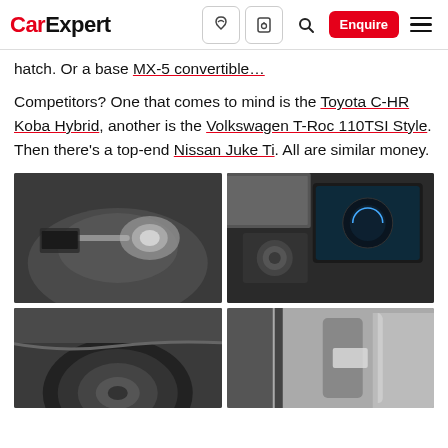CarExpert — navigation header with logo, icons, Enquire button, and menu
hatch. Or a base MX-5 convertible...
Competitors? One that comes to mind is the Toyota C-HR Koba Hybrid, another is the Volkswagen T-Roc 110TSI Style. Then there's a top-end Nissan Juke Ti. All are similar money.
[Figure (photo): Close-up of a car's front headlight and grille area, grey vehicle]
[Figure (photo): Interior shot of a car showing centre console with infotainment touchscreen and gear shifter]
[Figure (photo): Close-up of a car wheel and wheel arch, grey vehicle]
[Figure (photo): Interior/door area of a car showing white seat and door pillar]